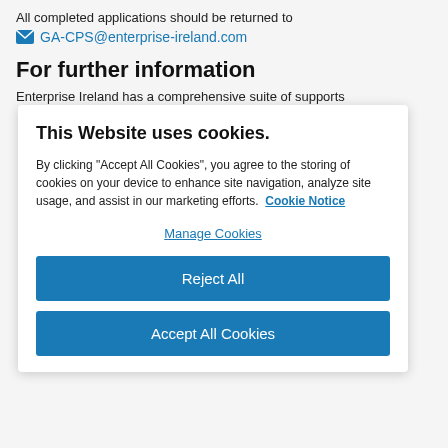All completed applications should be returned to
GA-CPS@enterprise-ireland.com
For further information
Enterprise Ireland has a comprehensive suite of supports
This Website uses cookies.
By clicking "Accept All Cookies", you agree to the storing of cookies on your device to enhance site navigation, analyze site usage, and assist in our marketing efforts. Cookie Notice
Manage Cookies
Reject All
Accept All Cookies